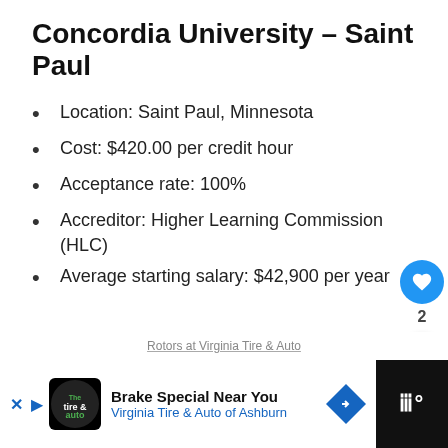Concordia University – Saint Paul
Location: Saint Paul, Minnesota
Cost: $420.00 per credit hour
Acceptance rate: 100%
Accreditor: Higher Learning Commission (HLC)
Average starting salary: $42,900 per year
[Figure (other): Advertisement banner: Brake Special Near You – Virginia Tire & Auto of Ashburn]
Rotors at Virginia Tire & Auto